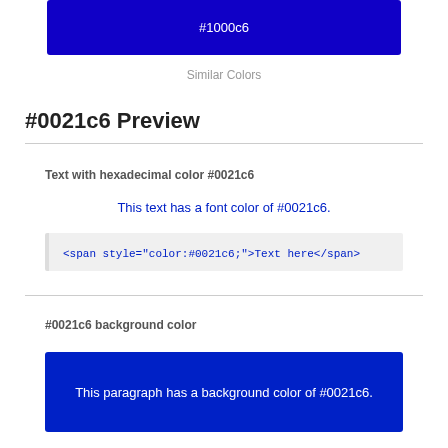[Figure (other): Blue color swatch rectangle showing hex color #1000c6]
Similar Colors
#0021c6 Preview
Text with hexadecimal color #0021c6
This text has a font color of #0021c6.
<span style="color:#0021c6;">Text here</span>
#0021c6 background color
[Figure (other): Blue rectangle demonstrating background color #0021c6 with white text: This paragraph has a background color of #0021c6.]